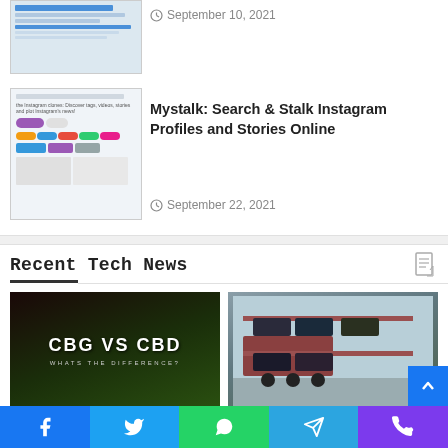[Figure (screenshot): Thumbnail screenshot of Instagram-related website interface]
September 10, 2021
[Figure (screenshot): Thumbnail screenshot of Mystalk Instagram search website]
Mystalk: Search & Stalk Instagram Profiles and Stories Online
September 22, 2021
Recent Tech News
[Figure (photo): CBG vs CBD cannabis plant photo with text overlay: CBG VS CBD WHATS THE DIFFERENCE?]
How is CBGA Different from CBDA
[Figure (photo): Open car carrier truck transporting multiple vehicles on highway]
Open Vs. Enclosed Carrier: What to Know